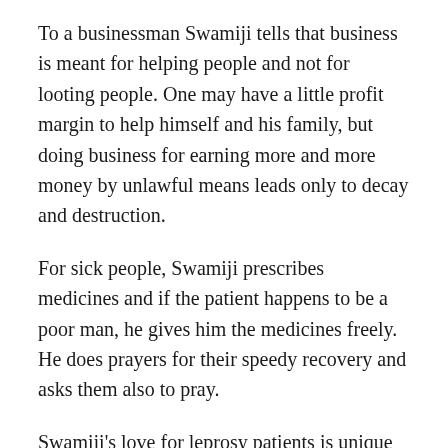To a businessman Swamiji tells that business is meant for helping people and not for looting people. One may have a little profit margin to help himself and his family, but doing business for earning more and more money by unlawful means leads only to decay and destruction.
For sick people, Swamiji prescribes medicines and if the patient happens to be a poor man, he gives him the medicines freely. He does prayers for their speedy recovery and asks them also to pray.
Swamiji's love for leprosy patients is unique and inexpressible. There are three leper colonies in the near surroundings of the Ashram and all patients are supplied with free food and medical treatment. Addressing a group of us Swamiji said one day, “All of